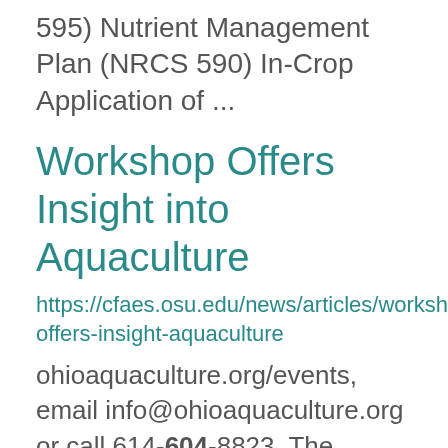595) Nutrient Management Plan (NRCS 590) In-Crop Application of ...
Workshop Offers Insight into Aquaculture
https://cfaes.osu.edu/news/articles/workshop-offers-insight-aquaculture
ohioaquaculture.org/events, email info@ohioaquaculture.org or call 614-604-8823. The deadline to register is Oct. 25. Matthew ...
TWEL Kevin Swanson Thesis
https://senr.osu.edu/node/2935
± 41 m). January-June survival was higher